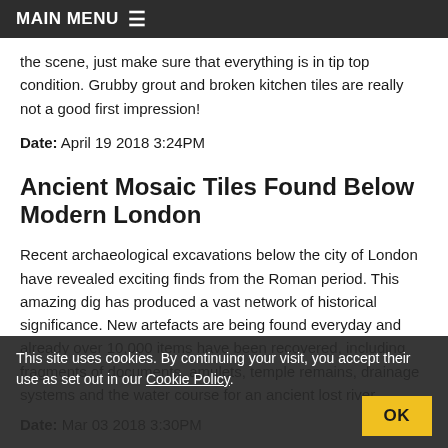MAIN MENU ☰
the scene, just make sure that everything is in tip top condition. Grubby grout and broken kitchen tiles are really not a good first impression!
Date: April 19 2018 3:24PM
Ancient Mosaic Tiles Found Below Modern London
Recent archaeological excavations below the city of London have revealed exciting finds from the Roman period. This amazing dig has produced a vast network of historical significance. New artefacts are being found everyday and already over 10,000 items have been recovered, including fragments of documents, amulets, temple remains, drainage systems and the water course for an ancient lost river.
Date: Mar 03 2018 3:30PM
This site uses cookies. By continuing your visit, you accept their use as set out in our Cookie Policy.   OK